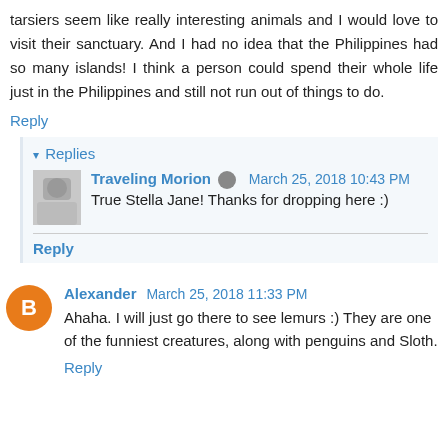tarsiers seem like really interesting animals and I would love to visit their sanctuary. And I had no idea that the Philippines had so many islands! I think a person could spend their whole life just in the Philippines and still not run out of things to do.
Reply
Replies
Traveling Morion  March 25, 2018 10:43 PM
True Stella Jane! Thanks for dropping here :)
Reply
Alexander  March 25, 2018 11:33 PM
Ahaha. I will just go there to see lemurs :) They are one of the funniest creatures, along with penguins and Sloth.
Reply